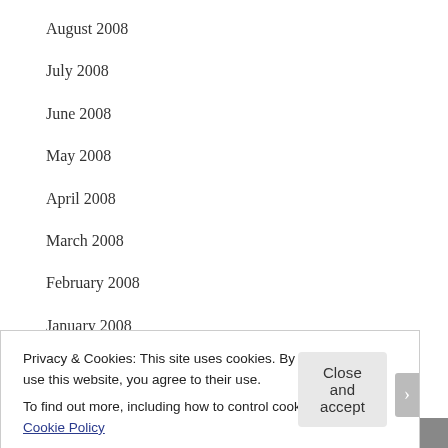August 2008
July 2008
June 2008
May 2008
April 2008
March 2008
February 2008
January 2008
December 2007
November 2007
Privacy & Cookies: This site uses cookies. By continuing to use this website, you agree to their use.
To find out more, including how to control cookies, see here: Cookie Policy
Close and accept